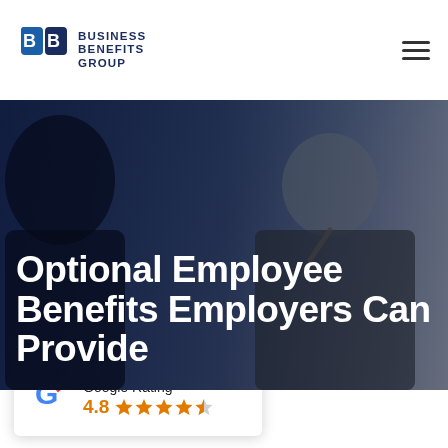Business Benefits Group
[Figure (photo): Hero image showing two businessmen in suits, one facing away in foreground, one thoughtfully holding a pen to his chin. Dark blue overlay. Large white bold text reads: Optional Employee Benefits Employers Can Provide]
Optional Employee Benefits Employers Can Provide
[Figure (infographic): Google Rating widget card with blue top border, Google 'G' multicolor logo, text 'Google Rating', score '4.8' in orange, and 5 orange stars (4 full, 1 half)]